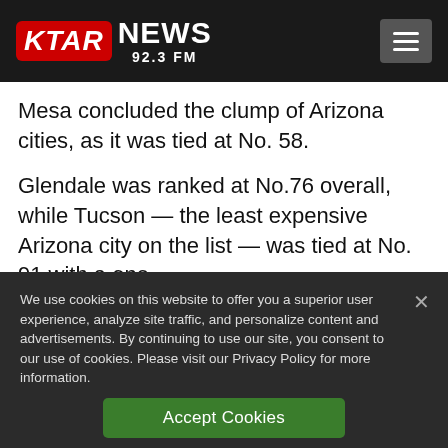KTAR NEWS 92.3 FM
Mesa concluded the clump of Arizona cities, as it was tied at No. 58.
Glendale was ranked at No.76 overall, while Tucson — the least expensive Arizona city on the list — was tied at No. 91 with a one-bedroom in Tucson costing $648 a...
We use cookies on this website to offer you a superior user experience, analyze site traffic, and personalize content and advertisements. By continuing to use our site, you consent to our use of cookies. Please visit our Privacy Policy for more information.
Accept Cookies